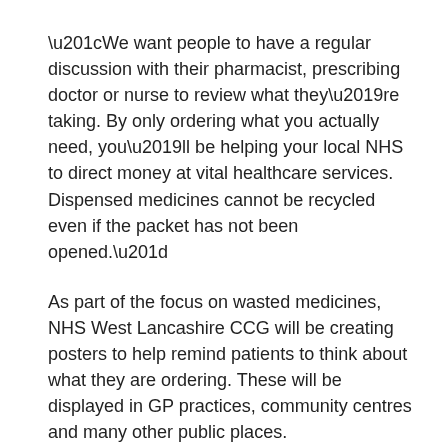“We want people to have a regular discussion with their pharmacist, prescribing doctor or nurse to review what they’re taking. By only ordering what you actually need, you’ll be helping your local NHS to direct money at vital healthcare services. Dispensed medicines cannot be recycled even if the packet has not been opened.”
As part of the focus on wasted medicines, NHS West Lancashire CCG will be creating posters to help remind patients to think about what they are ordering. These will be displayed in GP practices, community centres and many other public places.